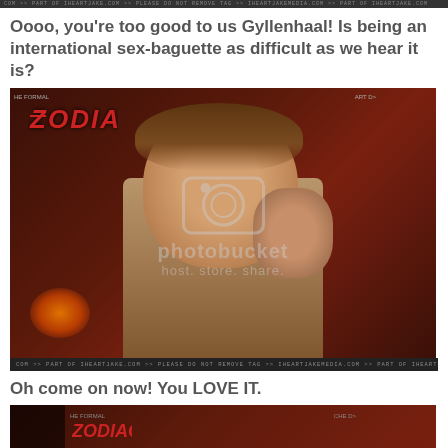COM >> PART OF IHEARTJAKE.COM >> PLEASE DO NOT REMOVE TAG >> IHEARTJAKEMEDIA.COM >> PART OF IHEARTJAKE.COM
Oooo, you're too good to us Gyllenhaal! Is being an international sex-baguette as difficult as we hear it is?
[Figure (photo): Photo of Jake Gyllenhaal smiling and touching his neck, in front of a Zodiac movie backdrop. Photobucket watermark overlaid.]
Oh come on now! You LOVE IT.
[Figure (photo): Partial photo of Jake Gyllenhaal in front of Zodiac movie backdrop, cropped at bottom of page.]